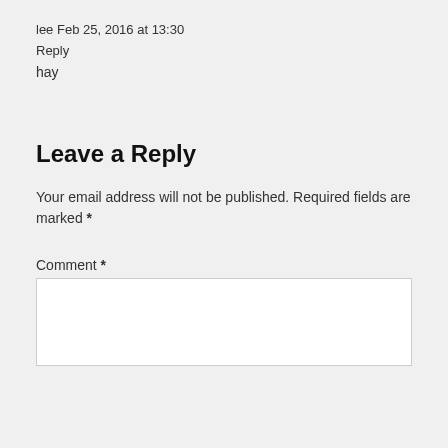lee Feb 25, 2016 at 13:30
Reply
hay
Leave a Reply
Your email address will not be published. Required fields are marked *
Comment *